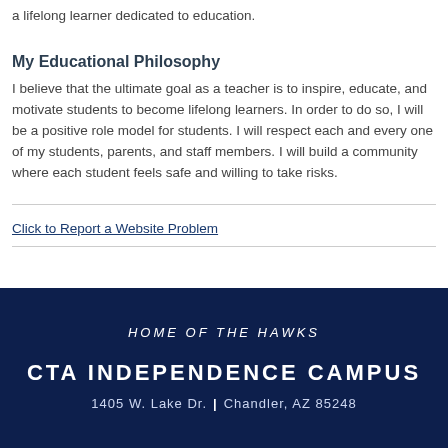a lifelong learner dedicated to education.
My Educational Philosophy
I believe that the ultimate goal as a teacher is to inspire, educate, and motivate students to become lifelong learners. In order to do so, I will be a positive role model for students. I will respect each and every one of my students, parents, and staff members. I will build a community where each student feels safe and willing to take risks.
Click to Report a Website Problem
HOME OF THE HAWKS
CTA INDEPENDENCE CAMPUS
1405 W. Lake Dr. | Chandler, AZ 85248